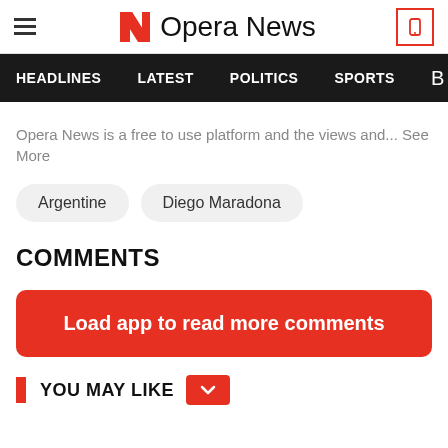Opera News
HEADLINES  LATEST  POLITICS  SPORTS
Opera News is a free to use platform and the views and... See More
Argentine
Diego Maradona
COMMENTS
Load app to read more comments
YOU MAY LIKE